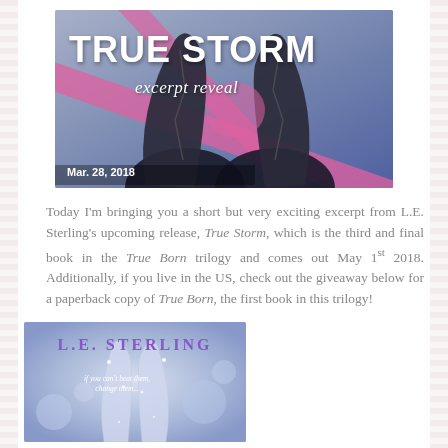[Figure (illustration): True Storm excerpt reveal banner image with dark horns against a purple/blue background with pink diagonal stripes. Text reads 'TRUE STORM excerpt reveal' and date 'Mar. 28, 2018'.]
Today I'm bringing you a short but very exciting excerpt from L.E. Sterling's upcoming release, True Storm, which is the third and final book in the True Born trilogy and comes out May 1st 2018. Additionally, if you live in the US, check out the giveaway below for a paperback copy of True Born, the first book in this trilogy!
[Figure (illustration): Book cover image showing L.E. Sterling author name in purple, with two horn-like shapes against a light purple/blue bokeh background. Tagline reads 'if you can't beat them, change them...']